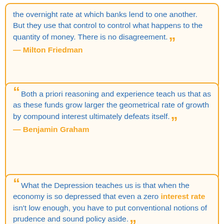the overnight rate at which banks lend to one another. But they use that control to control what happens to the quantity of money. There is no disagreement. — Milton Friedman
Both a priori reasoning and experience teach us that as as these funds grow larger the geometrical rate of growth by compound interest ultimately defeats itself. — Benjamin Graham
What the Depression teaches us is that when the economy is so depressed that even a zero interest rate isn't low enough, you have to put conventional notions of prudence and sound policy aside. — Paul Krugman